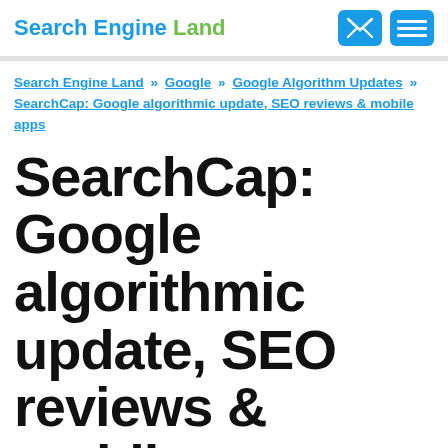Search Engine Land
Search Engine Land » Google » Google Algorithm Updates » SearchCap: Google algorithmic update, SEO reviews & mobile apps
SearchCap: Google algorithmic update, SEO reviews & mobile apps
Below is what happened in search today, as reported on Search Engine Land and